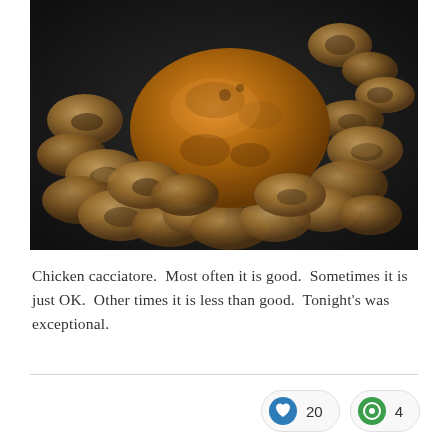[Figure (photo): A photograph of chicken cacciatore — a golden-brown seared chicken piece surrounded by sautéed mushrooms on a dark plate/pan background.]
Chicken cacciatore.  Most often it is good.  Sometimes it is just OK.  Other times it is less than good.  Tonight's was exceptional.